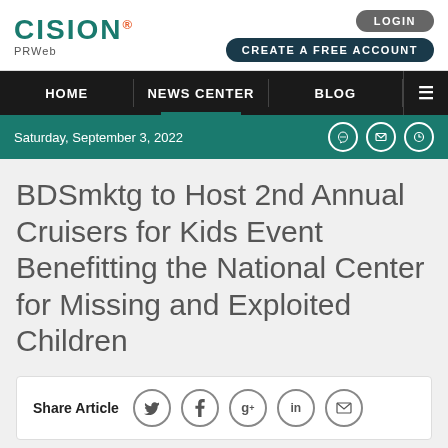CISION PRWeb
LOGIN
CREATE A FREE ACCOUNT
HOME | NEWS CENTER | BLOG
Saturday, September 3, 2022
BDSmktg to Host 2nd Annual Cruisers for Kids Event Benefitting the National Center for Missing and Exploited Children
Share Article
BDSmktg is hosting their 2nd Annual Cruisers for Kids event